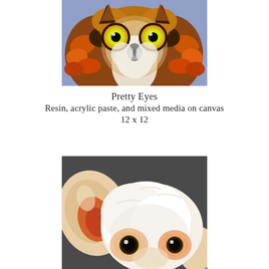[Figure (photo): Close-up painting of an owl face with vivid yellow-green eyes, orange and brown feathers in thick textured mixed media, on a blue-purple background]
Pretty Eyes
Resin, acrylic paste, and mixed media on canvas
12 x 12
[Figure (photo): Close-up painting of a small white dog (chihuahua-like) with large ears, black eyes, and pinkish-orange color accents around the eyes and inner ears, on a dark gray background]